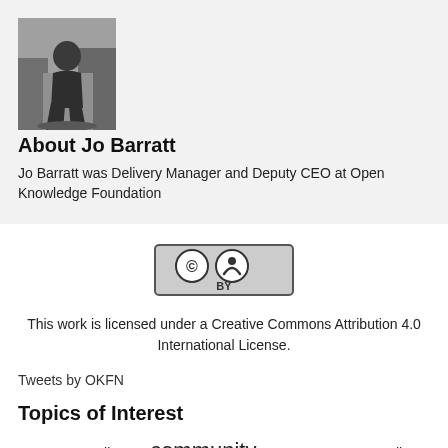[Figure (photo): Black and white profile photo of Jo Barratt, a person sitting outdoors among trees]
About Jo Barratt
Jo Barratt was Delivery Manager and Deputy CEO at Open Knowledge Foundation
[Figure (logo): Creative Commons Attribution (CC BY) license badge]
This work is licensed under a Creative Commons Attribution 4.0 International License.
Tweets by OKFN
Topics of Interest
argentina Brazil ckan community copyright Data Journalism EU Europe events